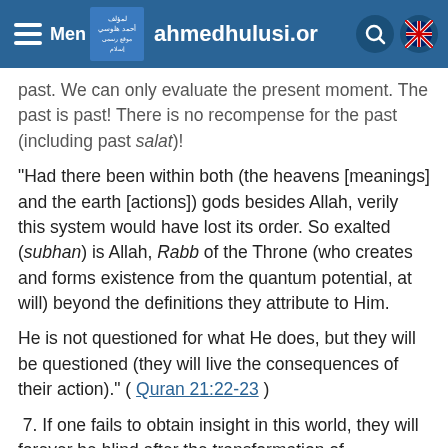Menu  ahmedhulusi.org
past. We can only evaluate the present moment. The past is past! There is no recompense for the past (including past salat)!
“Had there been within both (the heavens [meanings] and the earth [actions]) gods besides Allah, verily this system would have lost its order. So exalted (subhan) is Allah, Rabb of the Throne (who creates and forms existence from the quantum potential, at will) beyond the definitions they attribute to Him.
He is not questioned for what He does, but they will be questioned (they will live the consequences of their action).” ( Quran 21:22-23 )
7. If one fails to obtain insight in this world, they will forever be blind after the transformation of